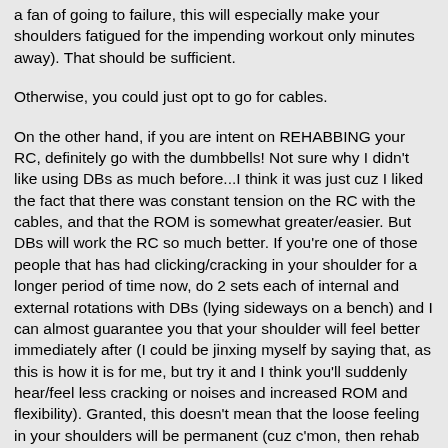a fan of going to failure, this will especially make your shoulders fatigued for the impending workout only minutes away). That should be sufficient.
Otherwise, you could just opt to go for cables.
On the other hand, if you are intent on REHABBING your RC, definitely go with the dumbbells! Not sure why I didn't like using DBs as much before...I think it was just cuz I liked the fact that there was constant tension on the RC with the cables, and that the ROM is somewhat greater/easier. But DBs will work the RC so much better. If you're one of those people that has had clicking/cracking in your shoulder for a longer period of time now, do 2 sets each of internal and external rotations with DBs (lying sideways on a bench) and I can almost guarantee you that your shoulder will feel better immediately after (I could be jinxing myself by saying that, as this is how it is for me, but try it and I think you'll suddenly hear/feel less cracking or noises and increased ROM and flexibility). Granted, this doesn't mean that the loose feeling in your shoulders will be permanent (cuz c'mon, then rehab would always be easy ;)), but it will definitely tell you you're on the right track.